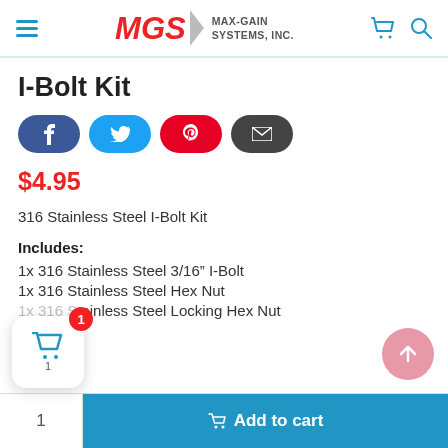MGS MAX-GAIN SYSTEMS, INC.
I-Bolt Kit
[Figure (screenshot): Social share buttons: Facebook (blue), Twitter (cyan), Pinterest (red), Email (dark gray)]
$4.95
316 Stainless Steel I-Bolt Kit
Includes:
1x 316 Stainless Steel 3/16″ I-Bolt
1x 316 Stainless Steel Hex Nut
1x 316 Stainless Steel Locking Hex Nut
[Figure (screenshot): Floating cart widget with badge showing 1 item, and scroll-to-top pink button]
1  ⎙ Add to cart